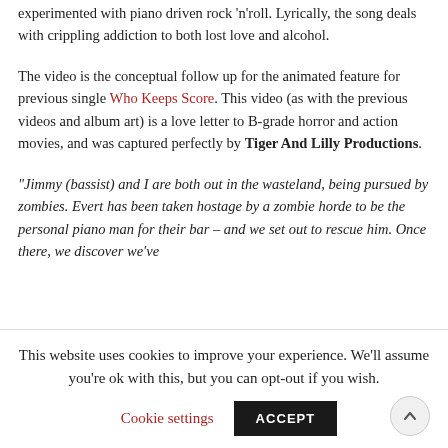experimented with piano driven rock 'n'roll. Lyrically, the song deals with crippling addiction to both lost love and alcohol.
The video is the conceptual follow up for the animated feature for previous single Who Keeps Score. This video (as with the previous videos and album art) is a love letter to B-grade horror and action movies, and was captured perfectly by Tiger And Lilly Productions.
“Jimmy (bassist) and I are both out in the wasteland, being pursued by zombies. Evert has been taken hostage by a zombie horde to be the personal piano man for their bar – and we set out to rescue him. Once there, we discover we’ve
This website uses cookies to improve your experience. We’ll assume you’re ok with this, but you can opt-out if you wish.
Cookie settings | ACCEPT